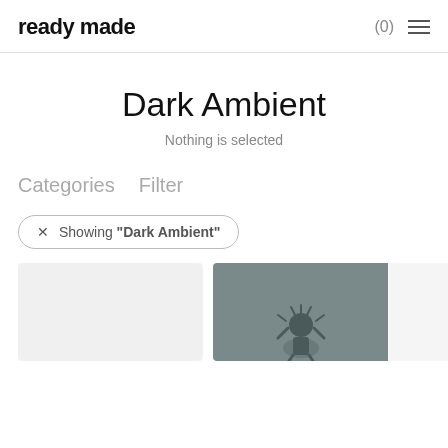ready made  (0)  ☰
Dark Ambient
Nothing is selected
Categories   Filter
× Showing "Dark Ambient"
[Figure (photo): Two product cards partially visible at the bottom: a light gray card on the left and a dark gray card with a figure/character on the right with a white overlay card.]